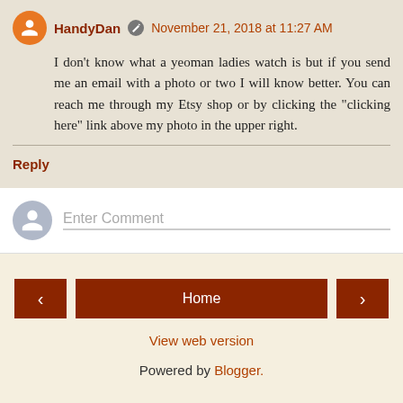HandyDan · November 21, 2018 at 11:27 AM — I don't know what a yeoman ladies watch is but if you send me an email with a photo or two I will know better. You can reach me through my Etsy shop or by clicking the "clicking here" link above my photo in the upper right.
Reply
Enter Comment
Home
View web version
Powered by Blogger.